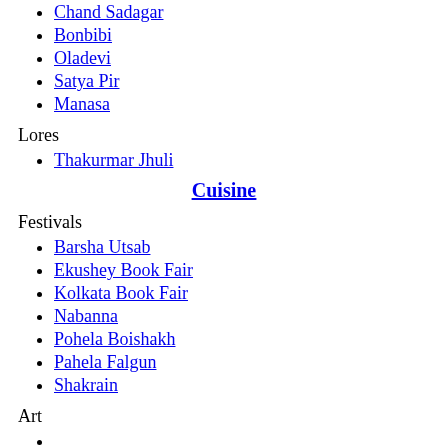Chand Sadagar
Bonbibi
Oladevi
Satya Pir
Manasa
Lores
Thakurmar Jhuli
Cuisine
Festivals
Barsha Utsab
Ekushey Book Fair
Kolkata Book Fair
Nabanna
Pohela Boishakh
Pahela Falgun
Shakrain
Art